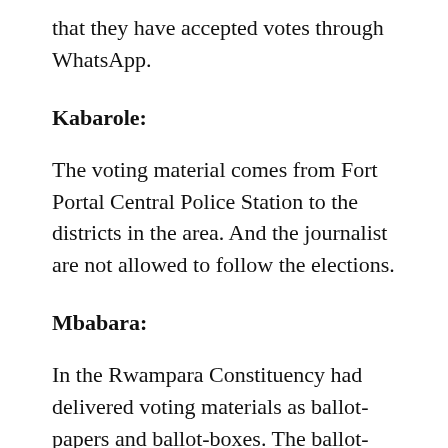that they have accepted votes through WhatsApp.
Kabarole:
The voting material comes from Fort Portal Central Police Station to the districts in the area. And the journalist are not allowed to follow the elections.
Mbabara:
In the Rwampara Constituency had delivered voting materials as ballot-papers and ballot-boxes. The ballot-papers was pre-ticked for the one MP candidate and no other candidate